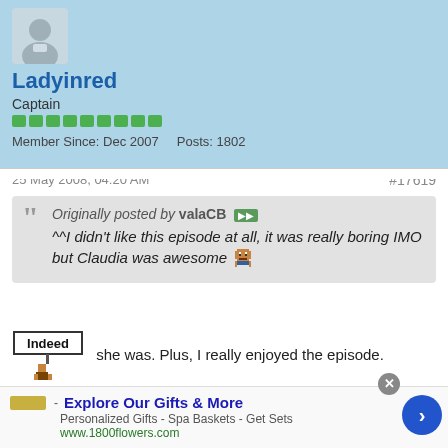[Figure (photo): User avatar placeholder with silhouette icon on light blue background]
Ladyinred
Captain
[Figure (infographic): Green reputation bar with 9 green blocks]
Member Since: Dec 2007   Posts: 1802
25 May 2008, 04:20 AM
#17619
Originally posted by valaCB
^^I didn't like this episode at all, it was really boring IMO but Claudia was awesome
Indeed   she was. Plus, I really enjoyed the episode. Especially Logan's "Lando Carlisian" quote. It would be really great to see Logan and The Cleaner (of course played by Claudia again) interacting more the next
Explore Our Gifts & More
Personalized Gifts - Spa Baskets - Get Sets
www.1800flowers.com